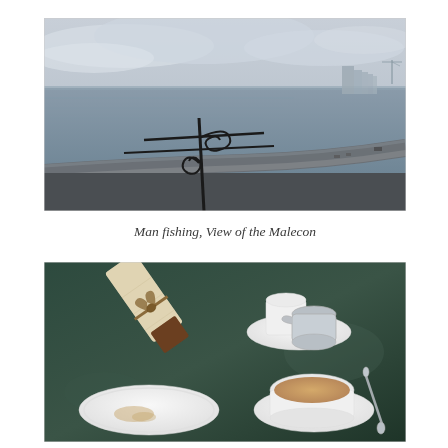[Figure (photo): Panoramic view of the Malecon in Havana, Cuba. Overcast sky, calm sea water, curved coastal road with buildings and a crane in the background, ornate iron railing in the foreground.]
Man fishing, View of the Malecon
[Figure (photo): Close-up of a cafe table with a pastry wrapped in parchment paper on a white plate, a cup of coffee with milk, a silver creamer and cup set on a saucer, and a spoon on a dark green table surface.]